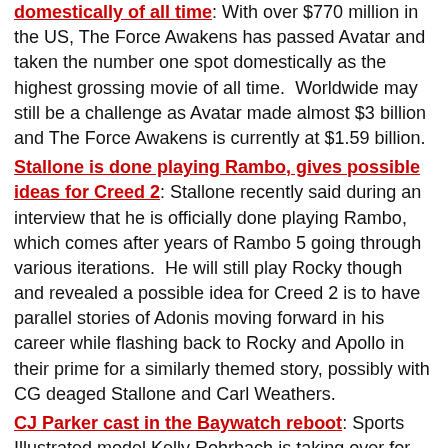domestically of all time: With over $770 million in the US, The Force Awakens has passed Avatar and taken the number one spot domestically as the highest grossing movie of all time.  Worldwide may still be a challenge as Avatar made almost $3 billion and The Force Awakens is currently at $1.59 billion.
Stallone is done playing Rambo, gives possible ideas for Creed 2: Stallone recently said during an interview that he is officially done playing Rambo, which comes after years of Rambo 5 going through various iterations.  He will still play Rocky though and revealed a possible idea for Creed 2 is to have parallel stories of Adonis moving forward in his career while flashing back to Rocky and Apollo in their prime for a similarly themed story, possibly with CG deaged Stallone and Carl Weathers.
CJ Parker cast in the Baywatch reboot: Sports Illustrated model Kelly Rohrbach is taking over for Pamela Anderson as CJ Parker in the upcoming Baywatch reboot movie, that will also star The Rock.